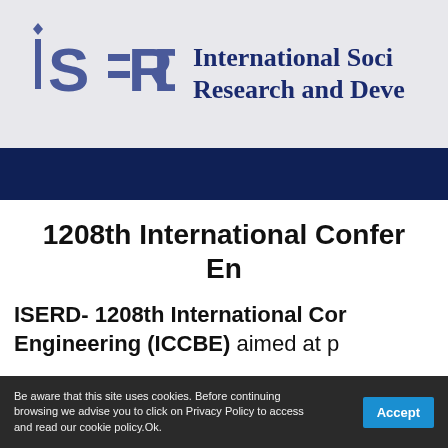[Figure (logo): ISERD logo with stylized letters and text 'International Society for Research and Development']
1208th International Conference on Engineering (ICCBE)
ISERD- 1208th International Conference on Civil and Building Engineering (ICCBE) aimed at providing...
Be aware that this site uses cookies. Before continuing browsing we advise you to click on Privacy Policy to access and read our cookie policy.Ok.